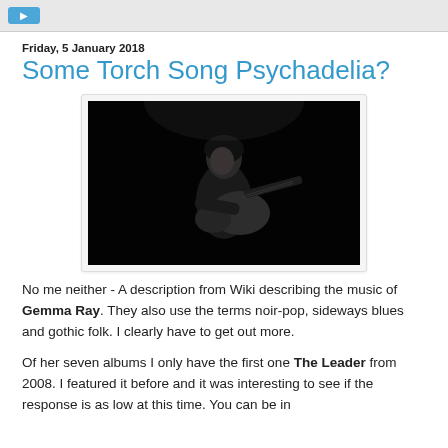Friday, 5 January 2018
Some Torch Song Psychadelia?
[Figure (photo): Black and white photo of Gemma Ray playing guitar on stage, looking upward, dark background]
No me neither - A description from Wiki describing the music of Gemma Ray. They also use the terms noir-pop, sideways blues and gothic folk. I clearly have to get out more.
Of her seven albums I only have the first one The Leader from 2008. I featured it before and it was interesting to see if the response is as low at this time. You can be in...